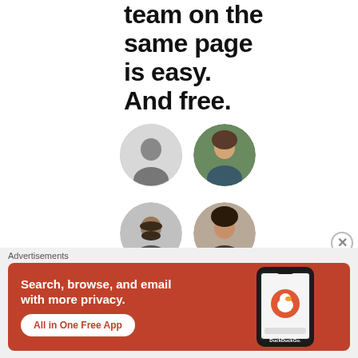team on the same page is easy. And free.
[Figure (illustration): Six circular avatar photos of people arranged in a 2-column grid. Row 1: man in dark jacket (grayscale), woman smiling (color). Row 2: man with dark beard (grayscale), woman with natural hair (color). Row 3: woman with black hair (partial, color), blue circle with white person icon (add/invite button).]
[Figure (illustration): Close (X) button circle for dismissing ad overlay, positioned at right edge.]
Advertisements
[Figure (screenshot): DuckDuckGo advertisement banner on orange-red background. Text reads: Search, browse, and email with more privacy. All in One Free App. Shows a smartphone displaying the DuckDuckGo app. DuckDuckGo logo and wordmark at bottom right of phone.]